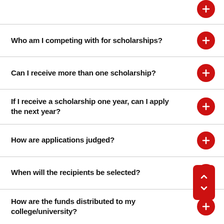Who am I competing with for scholarships?
Can I receive more than one scholarship?
If I receive a scholarship one year, can I apply the next year?
How are applications judged?
When will the recipients be selected?
How are the funds distributed to my college/university?